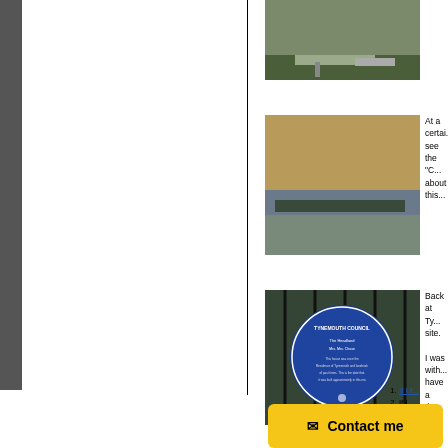[Figure (photo): Aerial or elevated view of a coastal or riverside area with green hills and a pier/dock structure]
[Figure (photo): Coastal/estuary scene at dusk or dawn with a flat low-lying area and water]
At a certai... see the "C... about this...
[Figure (photo): Blue commemorative plaque on iron railings, circular shape with white text, Tyne Tees related]
Back at Ty... site.
I was with... have a the...
If I f...
If I ... peop...
If I'v...
If I'v... the ...
Here, we t...
Contact me